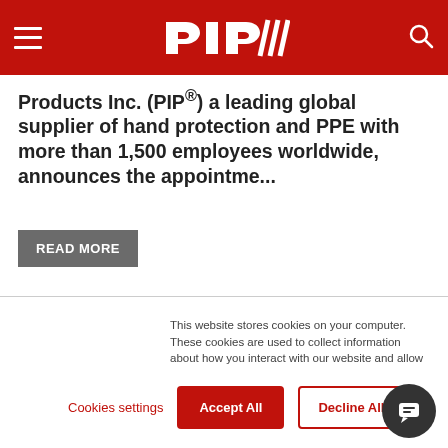[Figure (logo): PIP logo on red header bar with hamburger menu icon on left and search icon on right]
Products Inc. (PIP®) a leading global supplier of hand protection and PPE with more than 1,500 employees worldwide, announces the appointme...
READ MORE
This website stores cookies on your computer. These cookies are used to collect information about how you interact with our website and allow us to remember you. We use this information in order to improve and customize your browsing experience and for analytics and metrics about our visitors both on this website and other media. To find out more about the cookies we use, see our Privacy Policy
If you decline, your information won't be tracked when you visit this website. A single cookie will be used in your browser to remember your preference not to be tracked.
Cookies settings
Accept All
Decline All